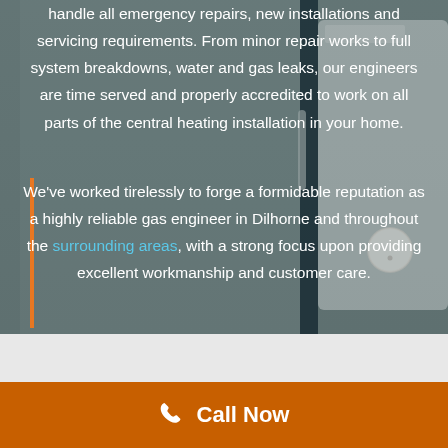handle all emergency repairs, new installations and servicing requirements. From minor repair works to full system breakdowns, water and gas leaks, our engineers are time served and properly accredited to work on all parts of the central heating installation in your home.
We've worked tirelessly to forge a formidable reputation as a highly reliable gas engineer in Dilhorne and throughout the surrounding areas, with a strong focus upon providing excellent workmanship and customer care.
[Figure (photo): Background photo of a boiler/central heating unit, greyed out]
Call Now